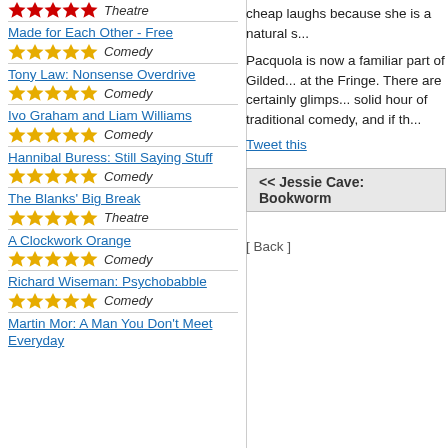★★★★★ Theatre
Made for Each Other - Free ★★★★★ Comedy
Tony Law: Nonsense Overdrive ★★★★★ Comedy
Ivo Graham and Liam Williams ★★★★★ Comedy
Hannibal Buress: Still Saying Stuff ★★★★★ Comedy
The Blanks' Big Break ★★★★★ Theatre
A Clockwork Orange ★★★★★ Comedy
Richard Wiseman: Psychobabble ★★★★★ Comedy
Martin Mor: A Man You Don't Meet Everyday ★★★★★ Comedy
cheap laughs because she is a natural s...
Pacquola is now a familiar part of Gilded... at the Fringe. There are certainly glimps... solid hour of traditional comedy, and if th...
Tweet this
<< Jessie Cave: Bookworm
[ Back ]